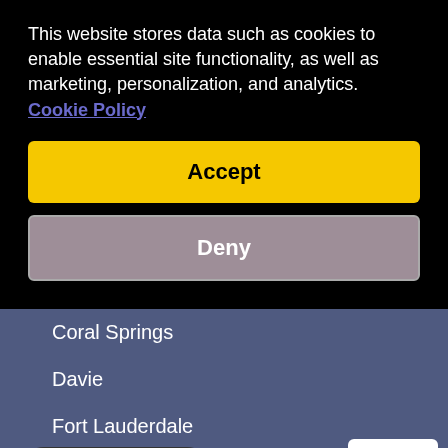This website stores data such as cookies to enable essential site functionality, as well as marketing, personalization, and analytics. Cookie Policy
Accept
Deny
Coral Springs
Davie
Fort Lauderdale
Hollywood
Weston
Chat with Us
Atlanta
[Figure (logo): Google reCAPTCHA badge with Privacy and Terms text]